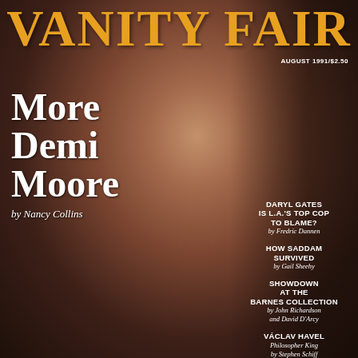VANITY FAIR
AUGUST 1991/$2.50
[Figure (photo): Demi Moore nude and pregnant, posed against dark background, covering chest with one arm, necklace and ring visible]
More Demi Moore
by Nancy Collins
DARYL GATES Is L.A.'s Top Cop to Blame? by Fredric Dannen
HOW SADDAM SURVIVED by Gail Sheehy
SHOWDOWN AT THE BARNES COLLECTION by John Richardson and David D'Arcy
VÁCLAV HAVEL Philosopher King by Stephen Schiff
HOLLYWOOD MAYHEM What Is Joe Eszterhas's